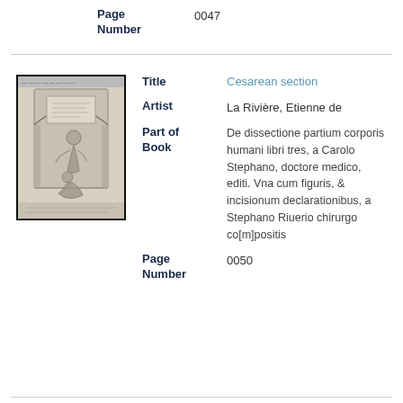| Field | Value |
| --- | --- |
| Page Number | 0047 |
[Figure (illustration): Historical medical illustration (engraving) showing a figure performing a Cesarean section, from a 16th century anatomy book. Printed in black and white with architectural framing.]
| Field | Value |
| --- | --- |
| Title | Cesarean section |
| Artist | La Rivière, Etienne de |
| Part of Book | De dissectione partium corporis humani libri tres, a Carolo Stephano, doctore medico, editi. Vna cum figuris, & incisionum declarationibus, a Stephano Riuerio chirurgo co[m]positis |
| Page Number | 0050 |